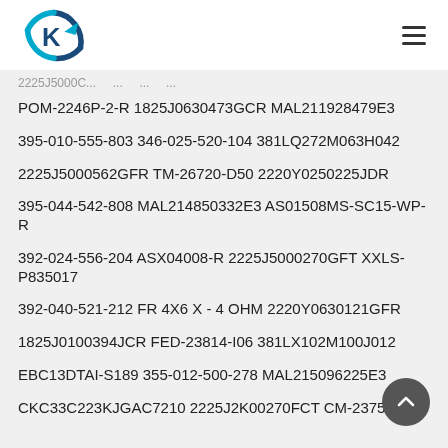K logo and navigation
2225J5000C...
POM-2246P-2-R 1825J0630473GCR MAL211928479E3
395-010-555-803 346-025-520-104 381LQ272M063H042
2225J5000562GFR TM-26720-D50 2220Y0250225JDR
395-044-542-808 MAL214850332E3 AS01508MS-SC15-WP-R
392-024-556-204 ASX04008-R 2225J5000270GFT XXLS-P835017
392-040-521-212 FR 4X6 X - 4 OHM 2220Y0630121GFR
1825J0100394JCR FED-23814-I06 381LX102M100J012
EBC13DTAI-S189 355-012-500-278 MAL215096225E3
CKC33C223KJGAC7210 2225J2K00270FCT CM-23752-000